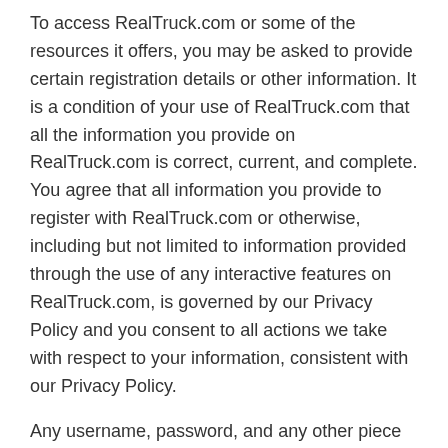To access RealTruck.com or some of the resources it offers, you may be asked to provide certain registration details or other information. It is a condition of your use of RealTruck.com that all the information you provide on RealTruck.com is correct, current, and complete. You agree that all information you provide to register with RealTruck.com or otherwise, including but not limited to information provided through the use of any interactive features on RealTruck.com, is governed by our Privacy Policy and you consent to all actions we take with respect to your information, consistent with our Privacy Policy.
Any username, password, and any other piece of information that provides access to your account must be treated as confidential. You must not disclose this information to any other person or entity. You also acknowledge that your account is personal to you and agree not to provide any other person with access to RealTruck.com or portions of it using your user name,